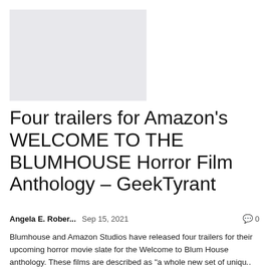[Figure (photo): Gray placeholder image rectangle]
Four trailers for Amazon's WELCOME TO THE BLUMHOUSE Horror Film Anthology – GeekTyrant
Angela E. Rober...   Sep 15, 2021   💬 0
Blumhouse and Amazon Studios have released four trailers for their upcoming horror movie slate for the Welcome to Blum House anthology. These films are described as "a whole new set of uniqu... and disturbing thrillers developed for...